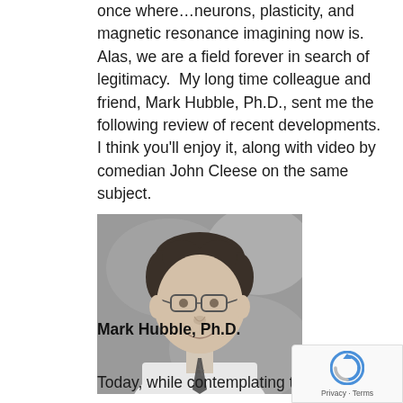once where…neurons, plasticity, and magnetic resonance imagining now is.  Alas, we are a field forever in search of legitimacy.  My long time colleague and friend, Mark Hubble, Ph.D., sent me the following review of recent developments.  I think you'll enjoy it, along with video by comedian John Cleese on the same subject.
[Figure (photo): Black and white headshot photograph of Mark Hubble, Ph.D., a man with glasses and curly hair wearing a white jacket and striped tie.]
Mark Hubble, Ph.D.
Today, while contemplating the numerous